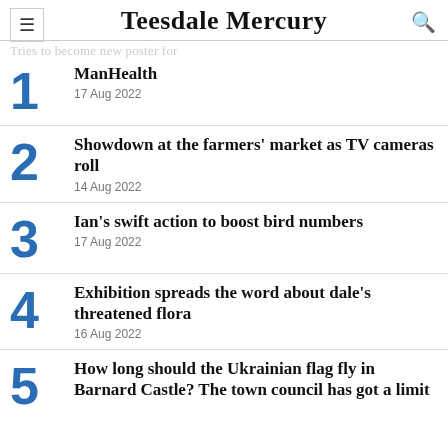Teesdale Mercury
Tries to become new poster for ManHealth
ManHealth | 17 Aug 2022
Showdown at the farmers' market as TV cameras roll | 14 Aug 2022
Ian's swift action to boost bird numbers | 17 Aug 2022
Exhibition spreads the word about dale's threatened flora | 16 Aug 2022
How long should the Ukrainian flag fly in Barnard Castle? The town council has got a limit